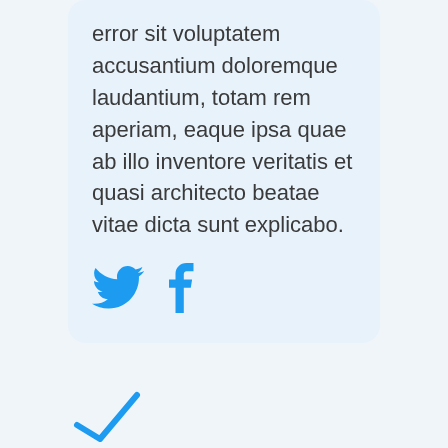error sit voluptatem accusantium doloremque laudantium, totam rem aperiam, eaque ipsa quae ab illo inventore veritatis et quasi architecto beatae vitae dicta sunt explicabo.
[Figure (illustration): Twitter bird icon and Facebook 'f' icon, both in blue, displayed as social media sharing buttons]
[Figure (illustration): Partial icon visible at the bottom left corner of the page, appears to be a share or checkmark icon in blue]